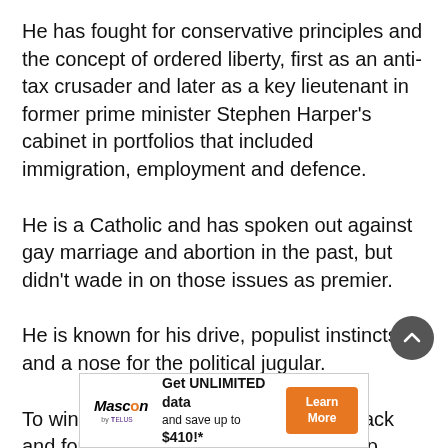He has fought for conservative principles and the concept of ordered liberty, first as an anti-tax crusader and later as a key lieutenant in former prime minister Stephen Harper's cabinet in portfolios that included immigration, employment and defence.
He is a Catholic and has spoken out against gay marriage and abortion in the past, but didn't wade in on those issues as premier.
He is known for his drive, populist instincts and a nose for the political jugular.
To win the UCP leadership, he drove back and forth across Alberta in a blue pickup truck to meet and greet thou—
[Figure (other): Advertisement banner for Mascon by TELUS: 'Get UNLIMITED data and save up to $410!*' with a Learn More button]